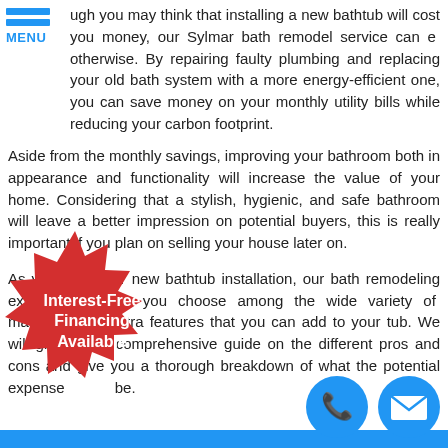[Figure (infographic): Hamburger menu icon with two blue horizontal bars and the label MENU in blue text]
ugh you may think that installing a new bathtub will cost you money, our Sylmar bath remodel service can e otherwise. By repairing faulty plumbing and replacing your old bath system with a more energy-efficient one, you can save money on your monthly utility bills while reducing your carbon footprint.
Aside from the monthly savings, improving your bathroom both in appearance and functionality will increase the value of your home. Considering that a stylish, hygienic, and safe bathroom will leave a better impression on potential buyers, this is really important if you plan on selling your house later on.
As you plan your new bathtub installation, our bath remodeling experts can help you choose among the wide variety of materials, and extra features that you can add to your tub. We will give you a comprehensive guide on the different pros and cons and give you a thorough breakdown of what the potential expense will be.
[Figure (infographic): Red starburst badge with white bold text reading 'Interest-Free Financing Available']
[Figure (infographic): Blue circle phone icon]
[Figure (infographic): Blue circle mail/envelope icon]